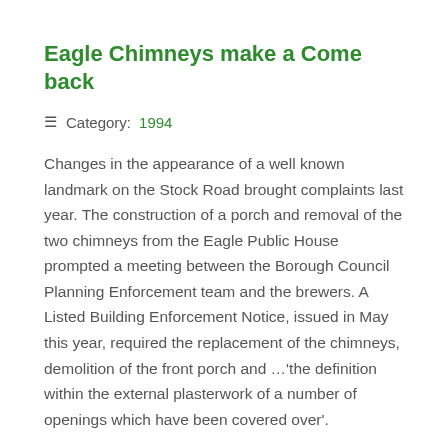Eagle Chimneys make a Come back
≡ Category: 1994
Changes in the appearance of a well known landmark on the Stock Road brought complaints last year. The construction of a porch and removal of the two chimneys from the Eagle Public House prompted a meeting between the Borough Council Planning Enforcement team and the brewers. A Listed Building Enforcement Notice, issued in May this year, required the replacement of the chimneys, demolition of the front porch and …'the definition within the external plasterwork of a number of openings which have been covered over'.